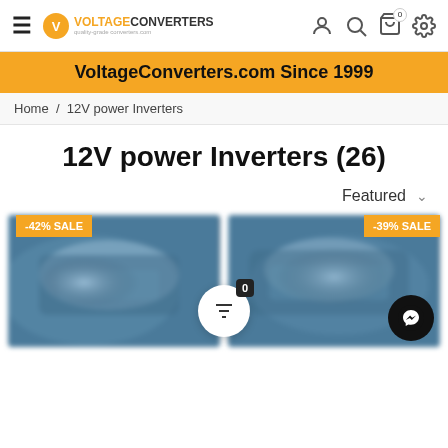VoltageConverters.com Since 1999
Home / 12V power Inverters
12V power Inverters (26)
Featured
[Figure (photo): Product image with -42% SALE badge, blurred power inverter device]
[Figure (photo): Product image with -39% SALE badge, blurred power inverter device]